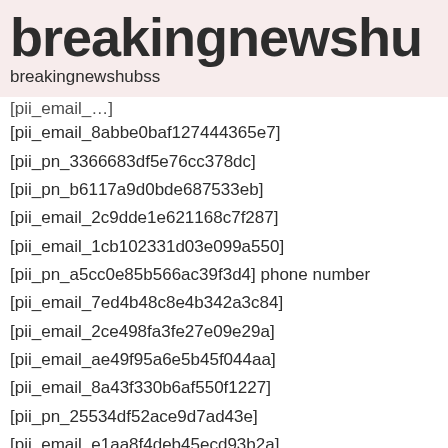breakingnewshu
breakingnewshubss
[pii_email_8abbe0baf127444365e7]
[pii_pn_3366683df5e76cc378dc]
[pii_pn_b6117a9d0bde687533eb]
[pii_email_2c9dde1e621168c7f287]
[pii_email_1cb102331d03e099a550]
[pii_pn_a5cc0e85b566ac39f3d4] phone number
[pii_email_7ed4b48c8e4b342a3c84]
[pii_email_2ce498fa3fe27e09e29a]
[pii_email_ae49f95a6e5b45f044aa]
[pii_email_8a43f330b6af550f1227]
[pii_pn_25534df52ace9d7ad43e]
[pii_email_e1aa8f4deb45ecd93b2a]
[pii_email_19c615a7f6086a2a0a3a]
[pii_email_cf08878f3954d6969ed3]
[pii_email_9c55590039c2c629ec55]